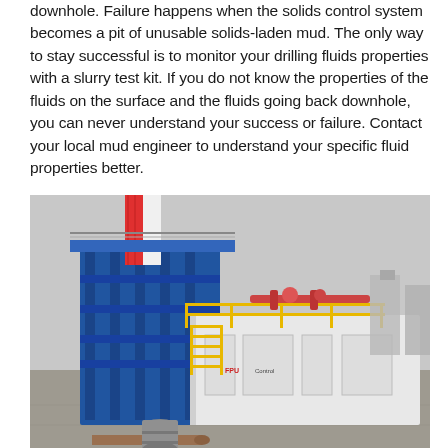downhole. Failure happens when the solids control system becomes a pit of unusable solids-laden mud. The only way to stay successful is to monitor your drilling fluids properties with a slurry test kit. If you do not know the properties of the fluids on the surface and the fluids going back downhole, you can never understand your success or failure. Contact your local mud engineer to understand your specific fluid properties better.
[Figure (photo): Photograph of a drilling rig site showing a large blue steel substructure with a red and white mast in the background. In the foreground is a white modular equipment skid with yellow safety railings, metal staircase, and industrial piping. The site is outdoors on a concrete pad under an overcast sky.]